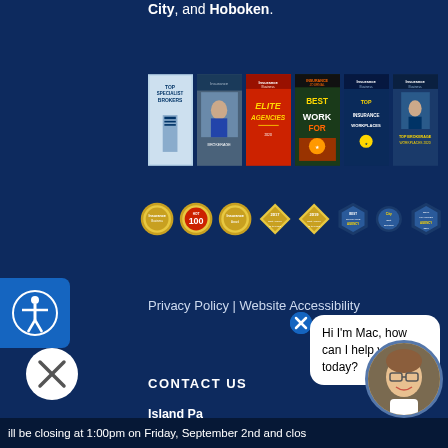City, and Hoboken.
[Figure (photo): Row of insurance magazine covers and awards including Top Specialist Brokers, Insurance Business Elite Agencies, Insurance Journal Best Work For, Insurance Business Top Insurance Workplaces, and Insurance Business Top Brokerage Workplaces]
[Figure (photo): Row of award badges and seals including Insurance Business, Hot 100, Insurance, and Best Agency badges]
[Figure (illustration): Accessibility icon button (person in circle)]
Privacy Policy | Website Accessibility
CONTACT US
Island Park
25 Nassau
Island Park,
[Figure (illustration): Chat bot avatar - cartoon woman with glasses and brown hair, chat bubble saying 'Hi I'm Mac, how can I help you today?']
ill be closing at 1:00pm on Friday, September 2nd and clos